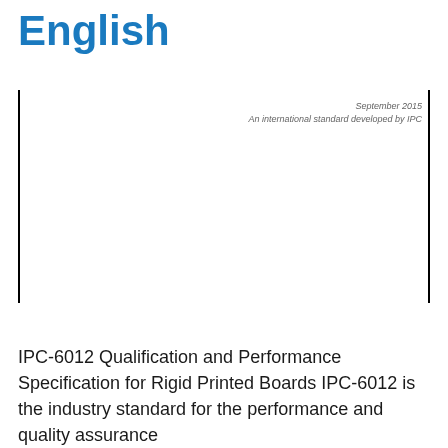English
September 2015
An international standard developed by IPC
IPC-6012 Qualification and Performance Specification for Rigid Printed Boards IPC-6012 is the industry standard for the performance and quality assurance